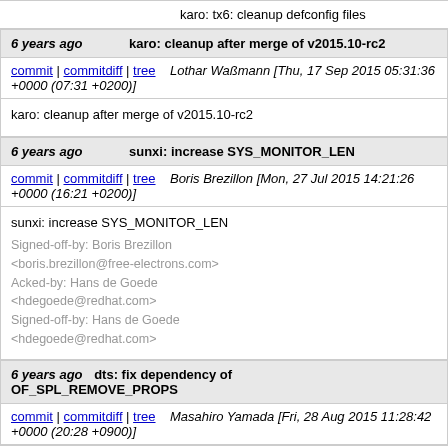karo: tx6: cleanup defconfig files
6 years ago   karo: cleanup after merge of v2015.10-rc2
commit | commitdiff | tree   Lothar Waßmann [Thu, 17 Sep 2015 05:31:36 +0000 (07:31 +0200)]
karo: cleanup after merge of v2015.10-rc2
6 years ago   sunxi: increase SYS_MONITOR_LEN
commit | commitdiff | tree   Boris Brezillon [Mon, 27 Jul 2015 14:21:26 +0000 (16:21 +0200)]
sunxi: increase SYS_MONITOR_LEN
Signed-off-by: Boris Brezillon <boris.brezillon@free-electrons.com>
Acked-by: Hans de Goede <hdegoede@redhat.com>
Signed-off-by: Hans de Goede <hdegoede@redhat.com>
6 years ago   dts: fix dependency of OF_SPL_REMOVE_PROPS
commit | commitdiff | tree   Masahiro Yamada [Fri, 28 Aug 2015 11:28:42 +0000 (20:28 +0900)]